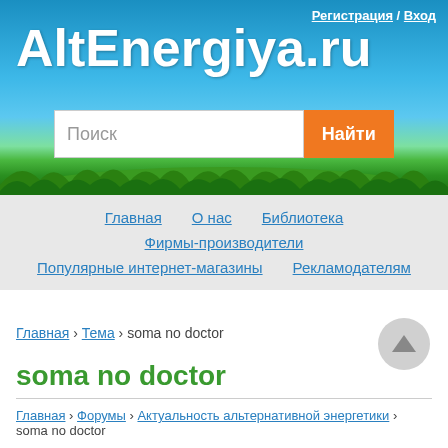[Figure (screenshot): Website header banner with sky and grass background, AltEnergiya.ru title]
Регистрация / Вход
AltEnergiya.ru
Поиск | Найти
Главная   О нас   Библиотека
Фирмы-производители
Популярные интернет-магазины   Рекламодателям
Главная › Тема › soma no doctor
soma no doctor
Главная › Форумы › Актуальность альтернативной энергетики › soma no doctor